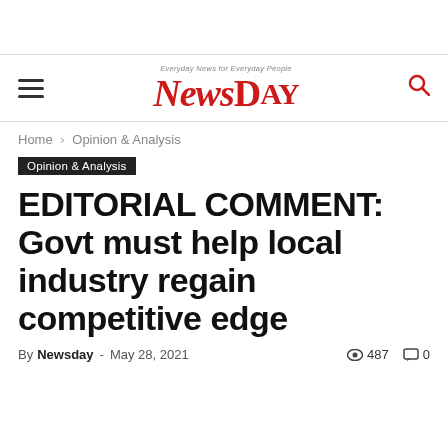NewsDay — Everyday News for Everyday People
Home › Opinion & Analysis
Opinion & Analysis
EDITORIAL COMMENT: Govt must help local industry regain competitive edge
By Newsday - May 28, 2021  👁 487  💬 0